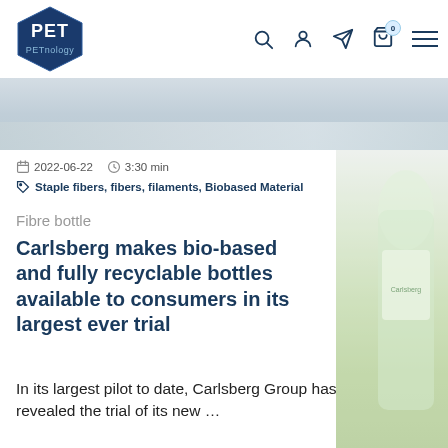[Figure (logo): PETnology logo – dark blue pentagon/hexagon shape with PET text in white and PETnology below]
[Figure (screenshot): Navigation bar with search, user, send, cart (badge 0), and hamburger menu icons]
[Figure (photo): Hero banner photo – blurred background with light sky and surface, Carlsberg green bottle visible on right side]
2022-06-22   3:30 min
Staple fibers, fibers, filaments, Biobased Material
Fibre bottle
Carlsberg makes bio-based and fully recyclable bottles available to consumers in its largest ever trial
In its largest pilot to date, Carlsberg Group has revealed the trial of its new ...